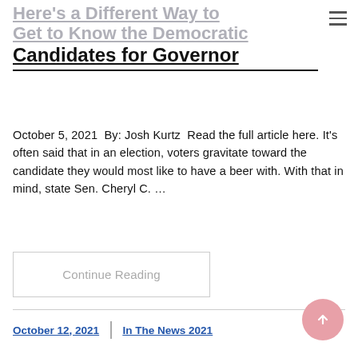Here's a Different Way to Get to Know the Democratic Candidates for Governor
October 5, 2021 By: Josh Kurtz Read the full article here. It's often said that in an election, voters gravitate toward the candidate they would most like to have a beer with. With that in mind, state Sen. Cheryl C. …
Continue Reading
October 12, 2021
In The News 2021